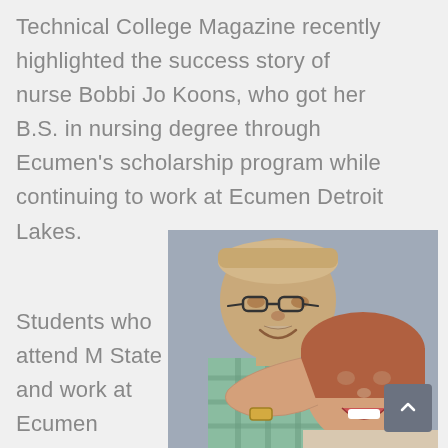Technical College Magazine recently highlighted the success story of nurse Bobbi Jo Koons, who got her B.S. in nursing degree through Ecumen's scholarship program while continuing to work at Ecumen Detroit Lakes.
[Figure (photo): A photo of an elderly man and a young woman laughing and embracing, cheek to cheek.]
Students who attend M State and work at Ecumen